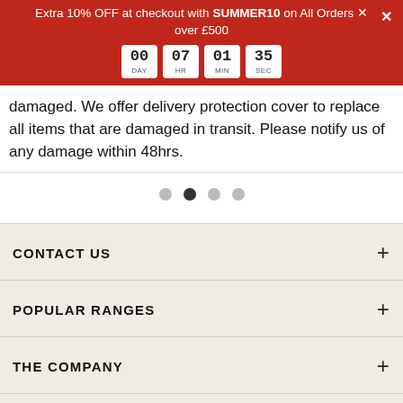Extra 10% OFF at checkout with SUMMER10 on All Orders over £500 | Countdown: 00 DAY 07 HR 01 MIN 35 SEC
damaged. We offer delivery protection cover to replace all items that are damaged in transit. Please notify us of any damage within 48hrs.
[Figure (other): Pagination dots, 4 dots with second dot active]
CONTACT US
POPULAR RANGES
THE COMPANY
NEWSLETTER
Sign up to our newsletter for exclusive content, updates on new products, promotions and discounts, so you never miss out.